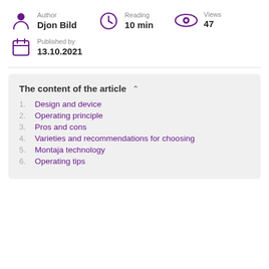Author
Djon Bild
Reading
10 min
Views
47
Published by
13.10.2021
The content of the article
1. Design and device
2. Operating principle
3. Pros and cons
4. Varieties and recommendations for choosing
5. Montaja technology
6. Operating tips